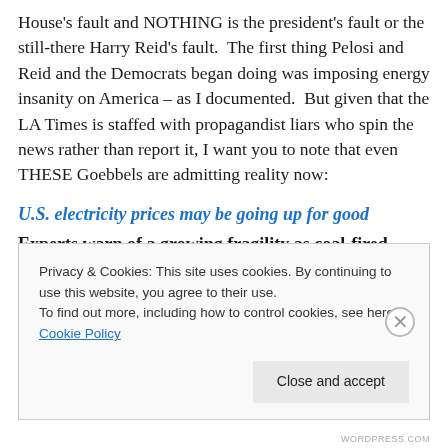House's fault and NOTHING is the president's fault or the still-there Harry Reid's fault.  The first thing Pelosi and Reid and the Democrats began doing was imposing energy insanity on America – as I documented.  But given that the LA Times is staffed with propagandist liars who spin the news rather than report it, I want you to note that even THESE Goebbels are admitting reality now:
U.S. electricity prices may be going up for good
Experts warn of a growing fragility as coal-fired plants are shut down, nuclear power is reduced and
Privacy & Cookies: This site uses cookies. By continuing to use this website, you agree to their use.
To find out more, including how to control cookies, see here: Cookie Policy
Close and accept